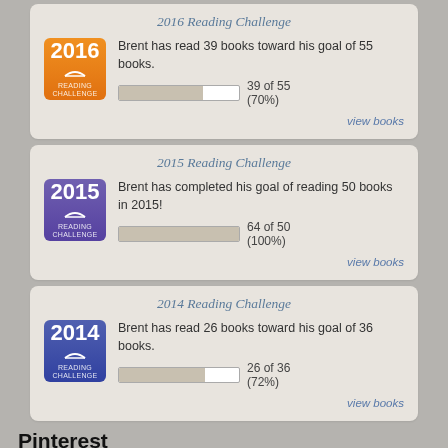2016 Reading Challenge
Brent has read 39 books toward his goal of 55 books.
39 of 55 (70%)
view books
2015 Reading Challenge
Brent has completed his goal of reading 50 books in 2015!
64 of 50 (100%)
view books
2014 Reading Challenge
Brent has read 26 books toward his goal of 36 books.
26 of 36 (72%)
view books
Pinterest
Brent Kno...